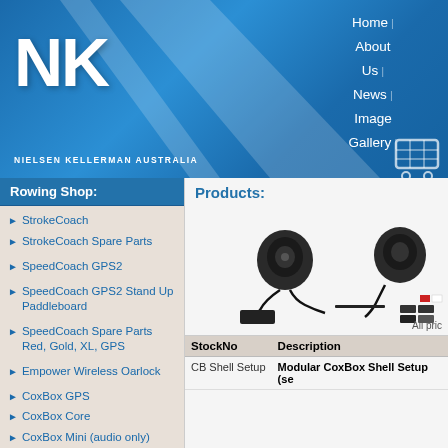[Figure (screenshot): Nielsen Kellerman Australia website header with blue gradient background, NK logo, navigation links (Home, About Us, News, Image Gallery, Privacy, Contact Us), and a shopping cart icon]
Rowing Shop:
StrokeCoach
StrokeCoach Spare Parts
SpeedCoach GPS2
SpeedCoach GPS2 Stand Up Paddleboard
SpeedCoach Spare Parts Red, Gold, XL, GPS
Empower Wireless Oarlock
CoxBox GPS
CoxBox Core
CoxBox Mini (audio only)
CoxBox/ CoxBox Mini Spare Parts
Products:
[Figure (photo): Product photo of Modular CoxBox Shell Setup components including speakers, cables, and mounting hardware]
All pric
| StockNo | Description |
| --- | --- |
| CB Shell Setup | Modular CoxBox Shell Setup (se |